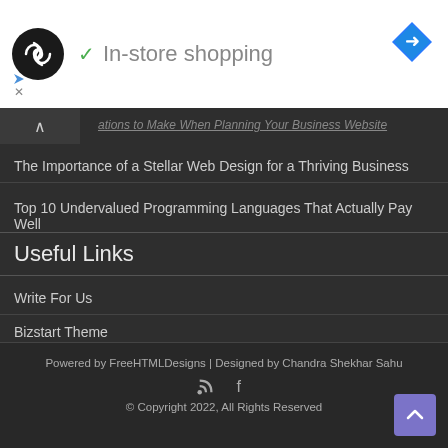[Figure (logo): Black circular logo with infinity-like symbol, checkmark icon and 'In-store shopping' text, blue diamond navigation icon, and small ad icons]
...ations to Make When Planning Your Business Website
The Importance of a Stellar Web Design for a Thriving Business
Top 10 Undervalued Programming Languages That Actually Pay Well
Useful Links
Write For Us
Bizstart Theme
DDoS Protected by Evolution Host
Powered by FreeHTMLDesigns | Designed by Chandra Shekhar Sahu
© Copyright 2022, All Rights Reserved